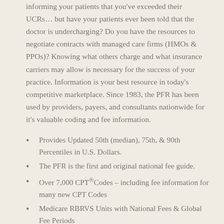informing your patients that you've exceeded their UCRs… but have your patients ever been told that the doctor is undercharging? Do you have the resources to negotiate contracts with managed care firms (HMOs & PPOs)? Knowing what others charge and what insurance carriers may allow is necessary for the success of your practice. Information is your best resource in today's competitive marketplace. Since 1983, the PFR has been used by providers, payers, and consultants nationwide for it's valuable coding and fee information.
Provides Updated 50th (median), 75th, & 90th Percentiles in U.S. Dollars.
The PFR is the first and original national fee guide.
Over 7,000 CPT® Codes – including fee information for many new CPT Codes
Medicare RBRVS Units with National Fees & Global Fee Periods
Thousands of CPT Coding & Billing Tips, Hints, Alerts, Warnings, and Traps